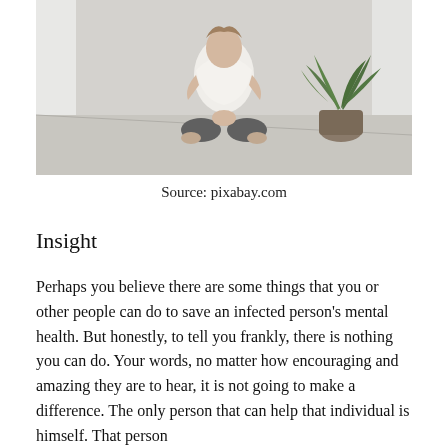[Figure (photo): A woman sitting cross-legged on the floor in a bright, airy room with a large potted palm plant in the background. She wears a white top and dark pants, seated on dark cushions on a light-colored floor.]
Source: pixabay.com
Insight
Perhaps you believe there are some things that you or other people can do to save an infected person's mental health. But honestly, to tell you frankly, there is nothing you can do. Your words, no matter how encouraging and amazing they are to hear, it is not going to make a difference. The only person that can help that individual is himself. That person